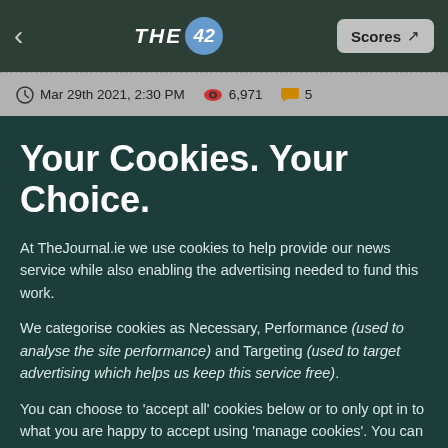THE 42 | Scores
Mar 29th 2021, 2:30 PM  6,971  5
Your Cookies. Your Choice.
At TheJournal.ie we use cookies to help provide our news service while also enabling the advertising needed to fund this work.
We categorise cookies as Necessary, Performance (used to analyse the site performance) and Targeting (used to target advertising which helps us keep this service free).
You can choose to 'accept all' cookies below or to only opt in to what you are happy to accept using 'manage cookies'. You can also change your cookie settings at any time and learn more about how we use cookies in our Privacy Policy